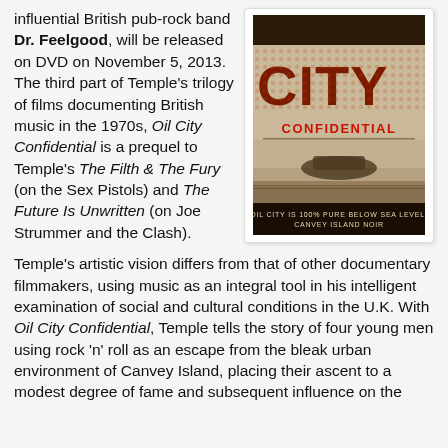influential British pub-rock band Dr. Feelgood, will be released on DVD on November 5, 2013. The third part of Temple's trilogy of films documenting British music in the 1970s, Oil City Confidential is a prequel to Temple's The Filth & The Fury (on the Sex Pistols) and The Future Is Unwritten (on Joe Strummer and the Clash).
[Figure (photo): DVD cover art for Oil City Confidential showing the title in large dot-matrix style letters, with 'CONFIDENTIAL' in red, an image of a building/landscape below, and text at the bottom reading 'OIL CITY IS 100% PURE BELOW SEA LEVEL. CANVEY ISLAND NOIR']
Temple's artistic vision differs from that of other documentary filmmakers, using music as an integral tool in his intelligent examination of social and cultural conditions in the U.K. With Oil City Confidential, Temple tells the story of four young men using rock 'n' roll as an escape from the bleak urban environment of Canvey Island, placing their ascent to a modest degree of fame and subsequent influence on the